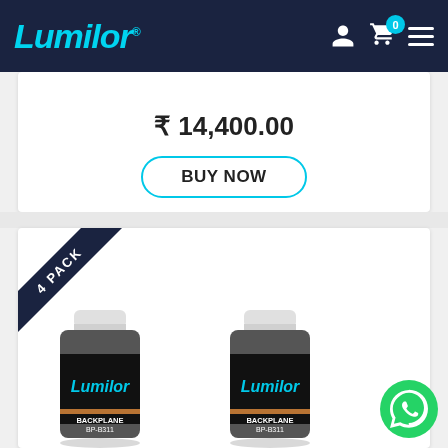[Figure (screenshot): LumiLor website navigation bar with logo, user icon, cart icon with badge showing 0, and hamburger menu on dark navy background]
₹ 14,400.00
BUY NOW
[Figure (photo): Two LumiLor Backplane BP-B311 paint bottles with white caps and black labels, 4 PACK banner in top-left corner of product card]
[Figure (logo): WhatsApp green circle icon in bottom right corner]